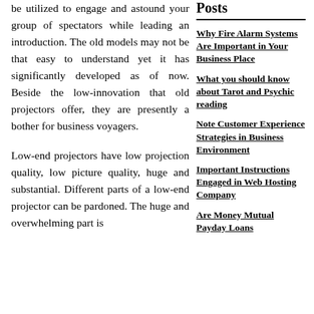be utilized to engage and astound your group of spectators while leading an introduction. The old models may not be that easy to understand yet it has significantly developed as of now. Beside the low-innovation that old projectors offer, they are presently a bother for business voyagers.
Low-end projectors have low projection quality, low picture quality, huge and substantial. Different parts of a low-end projector can be pardoned. The huge and overwhelming part is
Posts
Why Fire Alarm Systems Are Important in Your Business Place
What you should know about Tarot and Psychic reading
Note Customer Experience Strategies in Business Environment
Important Instructions Engaged in Web Hosting Company
Are Money Mutual Payday Loans